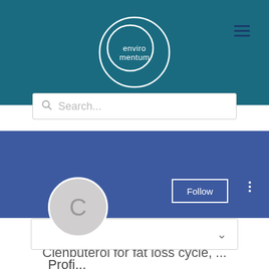[Figure (logo): Enviromentum logo: white circle with spiral and text 'enviromentum' on teal background]
[Figure (infographic): Hamburger menu icon (three horizontal lines) in dark blue on teal header]
Search...
[Figure (infographic): Blue-purple profile banner background]
[Figure (infographic): Grey circular avatar with letter C]
Follow
Clenbuterol for fat loss cycle, ...
[Figure (infographic): Dropdown box with chevron]
Profile